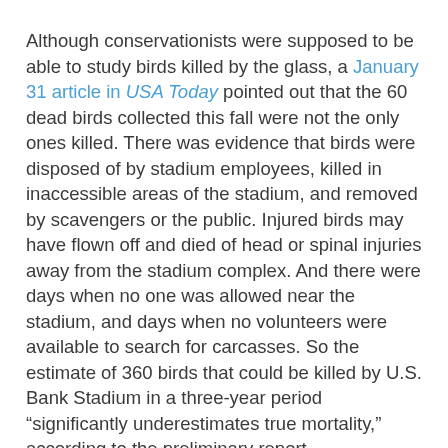Although conservationists were supposed to be able to study birds killed by the glass, a January 31 article in USA Today pointed out that the 60 dead birds collected this fall were not the only ones killed. There was evidence that birds were disposed of by stadium employees, killed in inaccessible areas of the stadium, and removed by scavengers or the public. Injured birds may have flown off and died of head or spinal injuries away from the stadium complex. And there were days when no one was allowed near the stadium, and days when no volunteers were available to search for carcasses. So the estimate of 360 birds that could be killed by U.S. Bank Stadium in a three-year period “significantly underestimates true mortality,” according to the preliminary report.
Ironically, the exact same company that manufactured the glass for the Dallas Cowboys was under contract for the glass for the Vikings, too. Changing the contract when the problem was publicized would have cost about a million dollars more—less than a tenth of one percent of the more than billion dollar price tag. To fix the issue at this late date